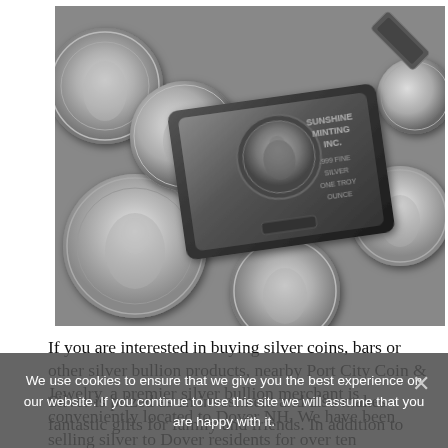[Figure (photo): Close-up photo of silver coins and a silver bar from Sunshine Minting Inc. (.999 fine silver, one troy ounce). The coins appear to be American Silver Eagles and the bar has text reading 'SUNSHINE MINTING INC. .999 FINE SILVER ONE TROY OUNCE'.]
If you are interested in buying silver coins, bars or other silver bullion products, nearby Port City Coin & Jewelry, a premier silver bullion merchant is conveniently located to Dover NH. We have been selling silver to Dover residents for over ten
We use cookies to ensure that we give you the best experience on our website. If you continue to use this site we will assume that you are happy with it.
Silver is prized as an investment and also makes fantastic gifts for family and friends. In addition to